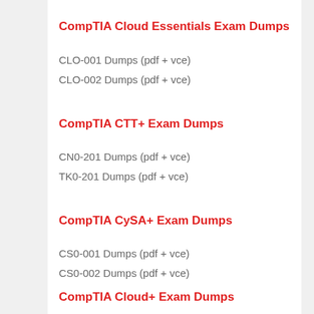CompTIA Cloud Essentials Exam Dumps
CLO-001 Dumps (pdf + vce)
CLO-002 Dumps (pdf + vce)
CompTIA CTT+ Exam Dumps
CN0-201 Dumps (pdf + vce)
TK0-201 Dumps (pdf + vce)
CompTIA CySA+ Exam Dumps
CS0-001 Dumps (pdf + vce)
CS0-002 Dumps (pdf + vce)
CompTIA Cloud+ Exam Dumps
CV0-001 Dumps (pdf + vce)
CV0-002 Dumps (pdf + vce)